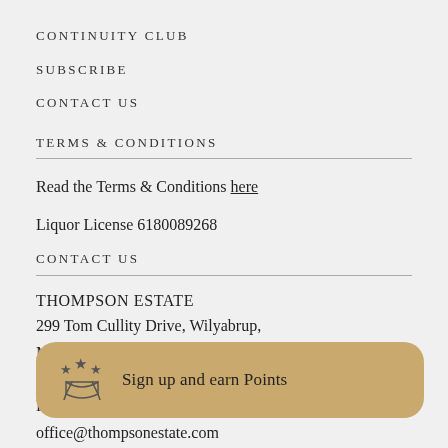CONTINUITY CLUB
SUBSCRIBE
CONTACT US
TERMS & CONDITIONS
Read the Terms & Conditions here
Liquor License 6180089268
CONTACT US
THOMPSON ESTATE
299 Tom Cullity Drive, Wilyabrup,
Margaret River, WA 6284
PO Box 36, Cowaramup
Phone/Fax: +61 8 9755
office@thompsonestate.com
[Figure (infographic): Golden toast notification banner with a ribbon/award icon on the left and text 'Sign up and earn Points']